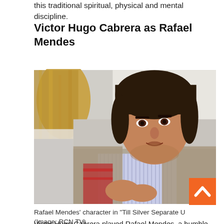this traditional spiritual, physical and mental discipline.
Victor Hugo Cabrera as Rafael Mendes
[Figure (photo): A man (Victor Hugo Cabrera portraying Rafael Mendes) in a scene from a TV show, wearing a layered jacket with a striped shirt, looking upward with a concerned expression. A woman with blonde hair is partially visible to his left.]
Rafael Mendes' character in "Till Silver Separate U" (Image: RCN TV)
Victor Hugo Cabrera played Rafael Mendes, a humble